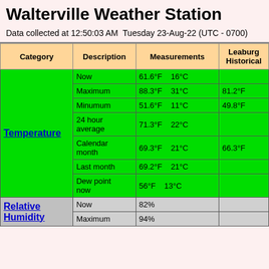Walterville Weather Station
Data collected at 12:50:03 AM  Tuesday 23-Aug-22 (UTC - 0700)
| Category | Description | Measurements | Leaburg Historical |
| --- | --- | --- | --- |
| Temperature | Now | 61.6°F    16°C |  |
| Temperature | Maximum | 88.3°F    31°C | 81.2°F |
| Temperature | Minumum | 51.6°F    11°C | 49.8°F |
| Temperature | 24 hour average | 71.3°F    22°C |  |
| Temperature | Calendar month | 69.3°F    21°C | 66.3°F |
| Temperature | Last month | 69.2°F    21°C |  |
| Temperature | Dew point now | 56°F    13°C |  |
| Relative Humidity | Now | 82% |  |
| Relative Humidity | Maximum | 94% |  |